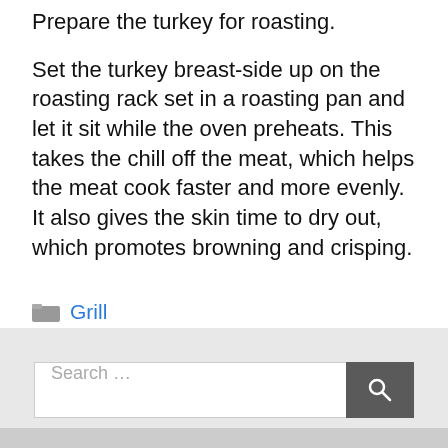Prepare the turkey for roasting.
Set the turkey breast-side up on the roasting rack set in a roasting pan and let it sit while the oven preheats. This takes the chill off the meat, which helps the meat cook faster and more evenly. It also gives the skin time to dry out, which promotes browning and crisping.
Grill
Search …